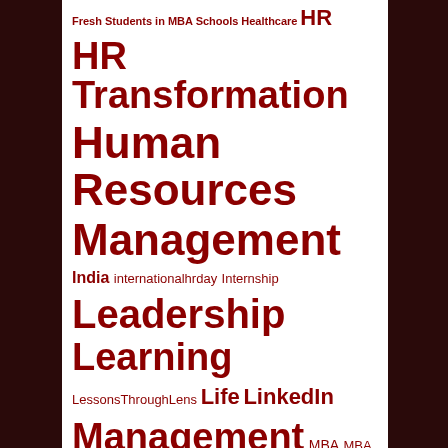[Figure (infographic): Tag cloud with various HR, management, and photography related terms in dark red color on white background. Larger text indicates more frequent tags. Tags include: Fresh Students in MBA Schools Healthcare, HR Transformation, Human Resources, Management, India, internationalhrday, Internship, Leadership, Learning, LessonsThroughLens, Life, LinkedIn, Management, MBA, MBA Schools in India, Organisation Culture, Philips, Photography, Scindia School, self-introspection, Social Media, Talent Acqusition, Transformation, Turbulent times, Twitter, Value Creation, VUCA, Wildlife, WildlifePhotography, Wind mills of your mind, Yash Mahadik, Yashwant Mahadik]